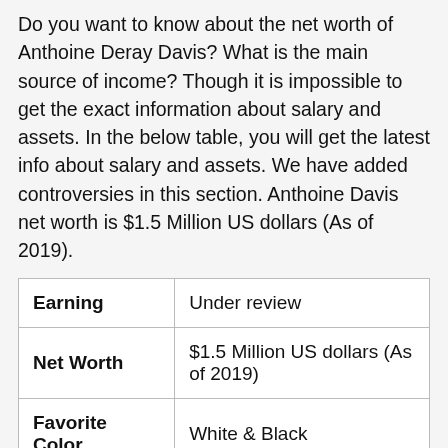Do you want to know about the net worth of Anthoine Deray Davis? What is the main source of income? Though it is impossible to get the exact information about salary and assets. In the below table, you will get the latest info about salary and assets. We have added controversies in this section. Anthoine Davis net worth is $1.5 Million US dollars (As of 2019).
| Earning | Under review |
| Net Worth | $1.5 Million US dollars (As of 2019) |
| Favorite Color | White & Black |
| Favorite Dishes | Continental Food |
|  |  |